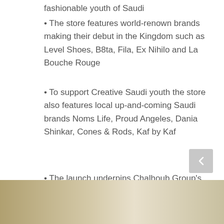fashionable youth of Saudi
• The store features world-renown brands making their debut in the Kingdom such as Level Shoes, B8ta, Fila, Ex Nihilo and La Bouche Rouge
• To support Creative Saudi youth the store also features local up-and-coming Saudi brands Noms Life, Proud Angeles, Dania Shinkar, Cones & Rods, Kaf by Kaf
• The launch underpins Chalhoub Group's commitment to expand its footprint in Saudi Arabia and make its world-class fashion, beauty and home gifting experiences accessible to everyone across the kingdom.
[Figure (photo): Bottom strip showing a photo of a store or floral display, partially visible at the bottom of the page.]